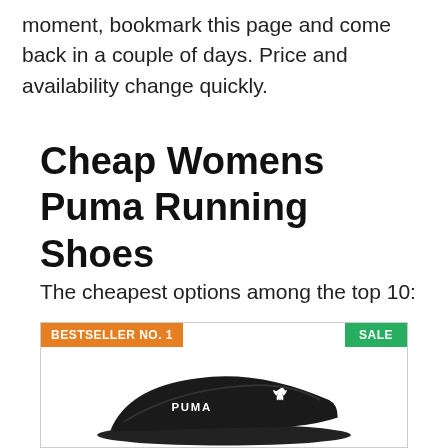moment, bookmark this page and come back in a couple of days. Price and availability change quickly.
Cheap Womens Puma Running Shoes
The cheapest options among the top 10:
[Figure (photo): Product image of black Puma slide sandal with white Puma logo and cat logo on the strap, shown against white background. Overlaid with 'BESTSELLER NO. 1' badge in orange (top-left) and 'SALE' badge in green (top-right).]